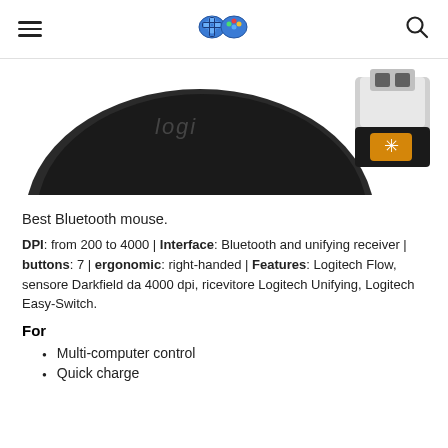Navigation header with menu, logo, and search icons
[Figure (photo): Product photo showing a Logitech wireless mouse (bottom, dark/black) and a Logitech Unifying USB receiver dongle with orange symbol on the right]
Best Bluetooth mouse.
DPI: from 200 to 4000 | Interface: Bluetooth and unifying receiver | buttons: 7 | ergonomic: right-handed | Features: Logitech Flow, sensore Darkfield da 4000 dpi, ricevitore Logitech Unifying, Logitech Easy-Switch.
For
Multi-computer control
Quick charge